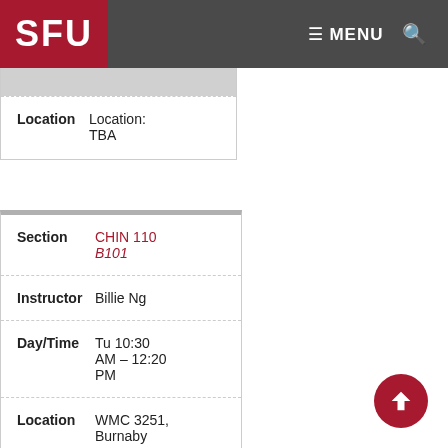SFU — MENU 🔍
| Field | Value |
| --- | --- |
| Location | Location: TBA |
| Field | Value |
| --- | --- |
| Section | CHIN 110 B101 |
| Instructor | Billie Ng |
| Day/Time | Tu 10:30 AM – 12:20 PM |
| Location | WMC 3251, Burnaby |